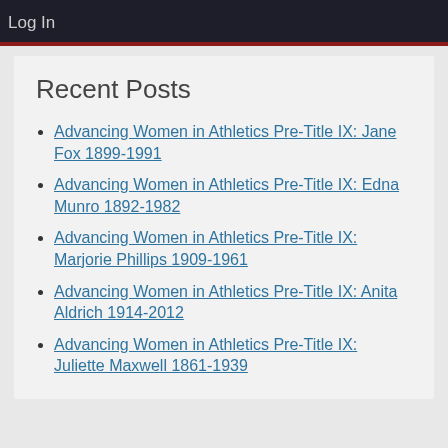Log In
Recent Posts
Advancing Women in Athletics Pre-Title IX: Jane Fox 1899-1991
Advancing Women in Athletics Pre-Title IX: Edna Munro 1892-1982
Advancing Women in Athletics Pre-Title IX: Marjorie Phillips 1909-1961
Advancing Women in Athletics Pre-Title IX: Anita Aldrich 1914-2012
Advancing Women in Athletics Pre-Title IX: Juliette Maxwell 1861-1939